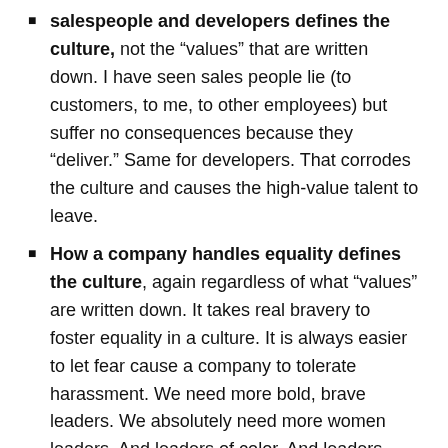salespeople and developers defines the culture, not the “values” that are written down. I have seen sales people lie (to customers, to me, to other employees) but suffer no consequences because they “deliver.” Same for developers. That corrodes the culture and causes the high-value talent to leave.
How a company handles equality defines the culture, again regardless of what “values” are written down. It takes real bravery to foster equality in a culture. It is always easier to let fear cause a company to tolerate harassment. We need more bold, brave leaders. We absolutely need more women leaders. And leaders of color. And leaders from other cultures.
So at the end of this phase of my professional life, I would say that what mattered, what was meaningful, what was important was creating conditions for people to be their